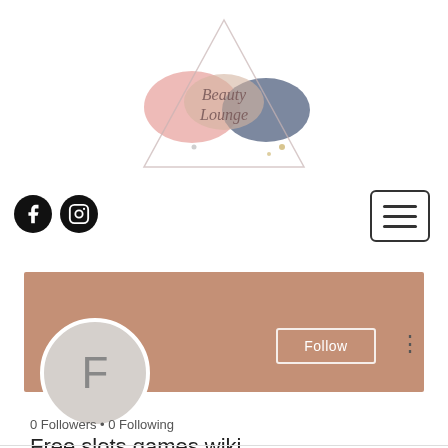[Figure (logo): Beauty Lounge logo with watercolor floral triangle design]
[Figure (illustration): Social media icons: Facebook circle and Instagram circle]
[Figure (illustration): Hamburger menu button with three horizontal lines in a rounded rectangle]
[Figure (illustration): User profile section: dusty rose/mauve banner header, circular avatar with letter F, Follow button, three-dot menu]
Free slots games wiki
0 Followers • 0 Following